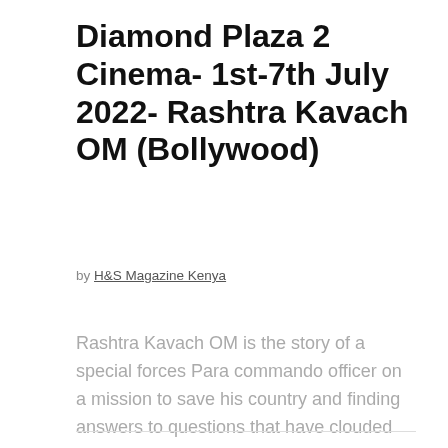Diamond Plaza 2 Cinema- 1st-7th July 2022- Rashtra Kavach OM (Bollywood)
by H&S Magazine Kenya
Rashtra Kavach OM is the story of a special forces Para commando officer on a mission to save his country and finding answers to questions that have clouded his entire existence. This adrenaline pumping action triller blends personal sacrifice with ...